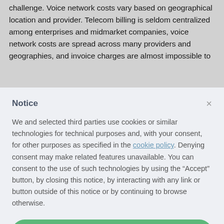challenge. Voice network costs vary based on geographical location and provider. Telecom billing is seldom centralized among enterprises and midmarket companies, voice network costs are spread across many providers and geographies, and invoice charges are almost impossible to
Notice
We and selected third parties use cookies or similar technologies for technical purposes and, with your consent, for other purposes as specified in the cookie policy. Denying consent may make related features unavailable. You can consent to the use of such technologies by using the "Accept" button, by closing this notice, by interacting with any link or button outside of this notice or by continuing to browse otherwise.
Accept
Learn more and customize